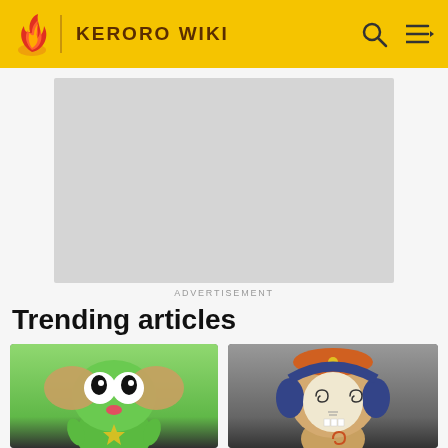KERORO WIKI
[Figure (screenshot): Advertisement placeholder box (grey rectangle)]
ADVERTISEMENT
Trending articles
[Figure (illustration): Keroro (green frog character with star on belly and large ears) - trending article thumbnail]
[Figure (illustration): Another Keroro character (tan/brown alien with spiral eyes and orange hat with headphones) - trending article thumbnail]